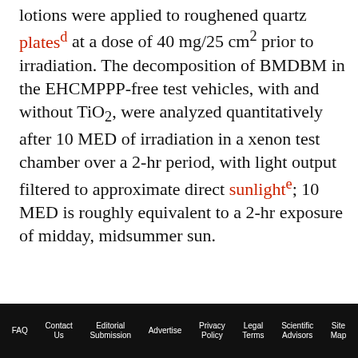lotions were applied to roughened quartz plates^d at a dose of 40 mg/25 cm^2 prior to irradiation. The decomposition of BMDBM in the EHCMPPP-free test vehicles, with and without TiO2, were analyzed quantitatively after 10 MED of irradiation in a xenon test chamber over a 2-hr period, with light output filtered to approximate direct sunlight^e; 10 MED is roughly equivalent to a 2-hr exposure of midday, midsummer sun.
ADVERTISEMENT
[Figure (other): Advertisement banner: left side white background with black bold uppercase text 'PRODUCT DEVELOPER'S GUIDE TO SUSTAINABLE,'; right side purple background with white bold text 'Cosmetics &Toiletries' and an image of hands with plant/natural elements.]
FAQ  Contact Us  Editorial Submission  Advertise  Privacy Policy  Legal Terms  Scientific Advisors  Site Map